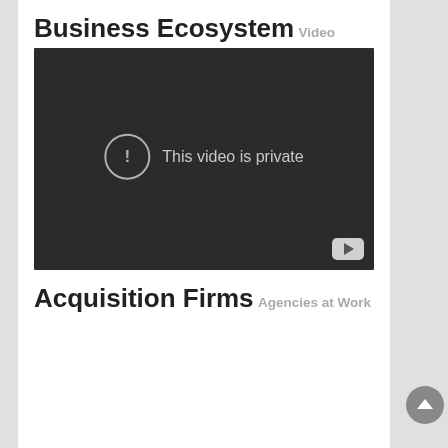Business Ecosystem
Video
[Figure (screenshot): Embedded video player showing 'This video is private' message with a warning icon and YouTube button]
Acquisition Firms
Agencies at Work